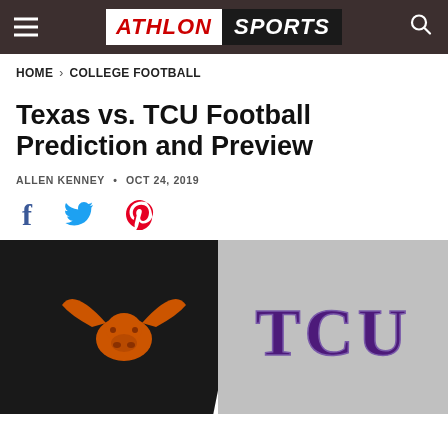ATHLON SPORTS
HOME > COLLEGE FOOTBALL
Texas vs. TCU Football Prediction and Preview
ALLEN KENNEY • OCT 24, 2019
[Figure (infographic): Social share icons: Facebook (blue f), Twitter (blue bird), Pinterest (red P)]
[Figure (photo): Split image showing Texas Longhorns orange logo on dark background on the left, and TCU purple text logo on gray background on the right]